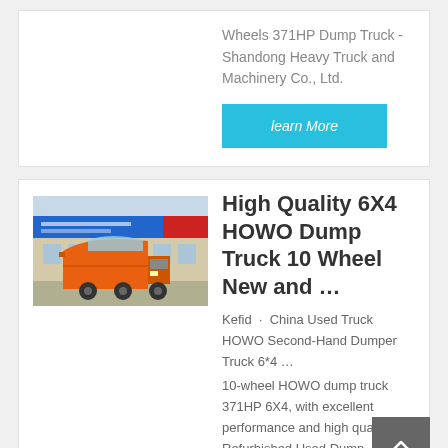Wheels 371HP Dump Truck - Shandong Heavy Truck and Machinery Co., Ltd.
learn More
[Figure (photo): Orange HOWO dump truck parked in front of a building with a blue and red sign. The truck is viewed from the front-side angle.]
High Quality 6X4 HOWO Dump Truck 10 Wheel New and …
Kefid · China Used Truck HOWO Second-Hand Dumper Truck 6*4 … 10-wheel HOWO dump truck 371HP 6X4, with excellent performance and high quality. Refurbished Used Dump